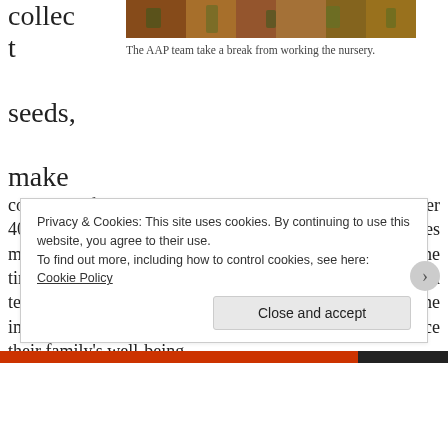collect seeds, make
[Figure (photo): Photo of the AAP team taking a break from working the nursery, showing people among plants and leaf litter on the ground.]
The AAP team take a break from working the nursery.
compost, fill each bag with soil, plant each seed, water 40,000 seedlings daily, and watch them grow into trees make our nurseries a community-led success. When the time is right and the rains have fallen, our reforestation team facilitates workshops to educate families about the importance of tree planting and how fruit trees can enhance their family's well-being.
Privacy & Cookies: This site uses cookies. By continuing to use this website, you agree to their use.
To find out more, including how to control cookies, see here: Cookie Policy
Close and accept